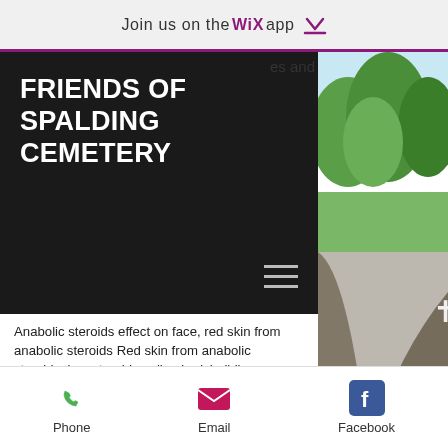Join us on the WiX app ↓
FRIENDS OF SPALDING CEMETERY
es and
Anabolic steroids effect on face, red skin from anabolic steroids Red skin from anabolic steroids, buy steroids online bodybuilding drugson Amazon.com
But these results are not universal—and the researchers say that further investigation is needed to see what happens in patients who take steroids for a long amount of time.
"We still need more information to be able to
[Figure (photo): Cemetery pathway with trees and a white cross visible, green trees, road/path visible]
Phone  Email  Facebook